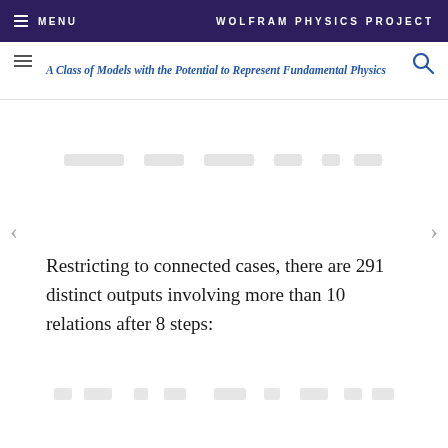MENU   WOLFRAM PHYSICS PROJECT
A Class of Models with the Potential to Represent Fundamental Physics
[Figure (other): Faded/partially visible graph or diagram image at top of content area]
Restricting to connected cases, there are 291 distinct outputs involving more than 10 relations after 8 steps:
[Figure (other): Faded/partially visible graph or diagram image at bottom of content area]